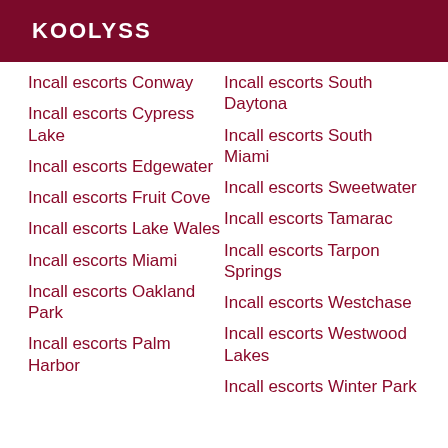KOOLYSS
Incall escorts Conway
Incall escorts Cypress Lake
Incall escorts Edgewater
Incall escorts Fruit Cove
Incall escorts Lake Wales
Incall escorts Miami
Incall escorts Oakland Park
Incall escorts Palm Harbor
Incall escorts South Daytona
Incall escorts South Miami
Incall escorts Sweetwater
Incall escorts Tamarac
Incall escorts Tarpon Springs
Incall escorts Westchase
Incall escorts Westwood Lakes
Incall escorts Winter Park